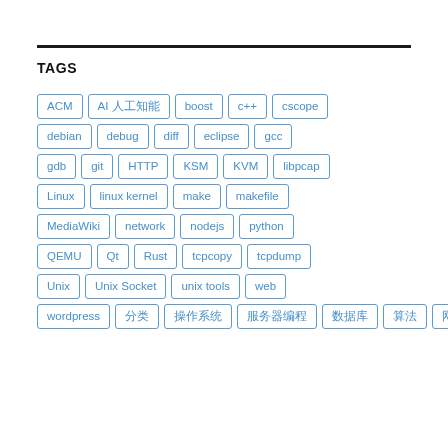TAGS
ACM
AI 人工知能
boost
c++
cscope
debian
debug
diff
eclipse
gcc
gdb
git
HTTP
KSM
KVM
libpcap
Linux
linux kernel
make
makefile
MediaWiki
network
nodejs
python
QEMU
Qt
Rust
tcpcopy
tcpdump
Unix
Unix Socket
unix tools
web
wordpress
分类
操作系统
服务器编程
数据库
算法
网络编程